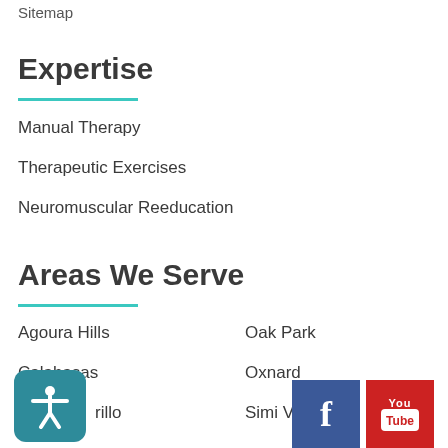Sitemap
Expertise
Manual Therapy
Therapeutic Exercises
Neuromuscular Reeducation
Areas We Serve
Agoura Hills
Oak Park
Calabasas
Oxnard
Camarillo
Simi Valley
[Figure (illustration): Accessibility icon button - white figure with arms out on teal rounded square background]
[Figure (logo): Facebook social media button - white f on blue square]
[Figure (logo): YouTube social media button - You Tube text on red square]